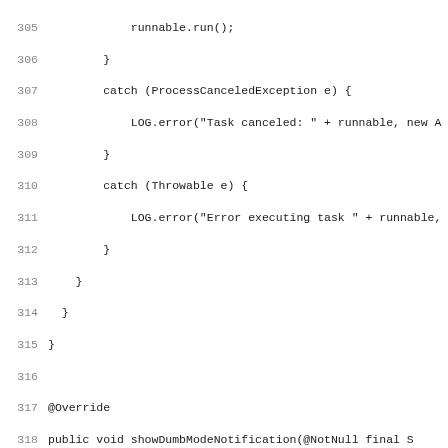[Figure (screenshot): Source code listing showing Java code lines 305-337, displaying methods including catch blocks for ProcessCanceledException and Throwable, showDumbModeNotification override, and waitForSmartMode override]